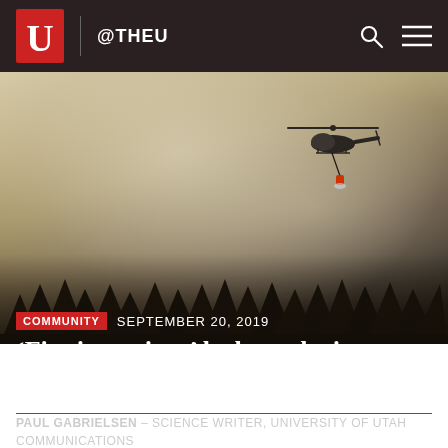@THEU
[Figure (photo): A helicopter carrying a water bucket flies through heavy wildfire smoke above a tree-lined ridge]
COMMUNITY  SEPTEMBER 20, 2019
‘Fire inversions’ lock smoke in valleys
PAUL GABRIELSEN - SCIENCE WRITER, UNIVERSITY OF UTAH COMMUNICATIONS